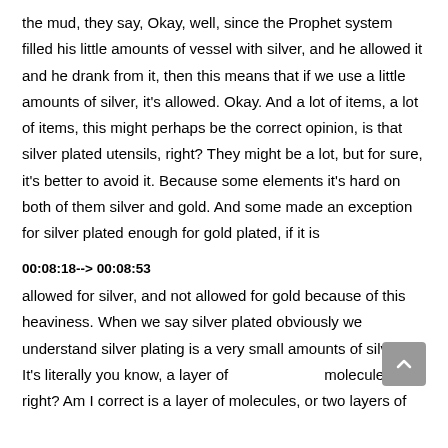the mud, they say, Okay, well, since the Prophet system filled his little amounts of vessel with silver, and he allowed it and he drank from it, then this means that if we use a little amounts of silver, it's allowed. Okay. And a lot of items, a lot of items, this might perhaps be the correct opinion, is that silver plated utensils, right? They might be a lot, but for sure, it's better to avoid it. Because some elements it's hard on both of them silver and gold. And some made an exception for silver plated enough for gold plated, if it is
00:08:18--> 00:08:53
allowed for silver, and not allowed for gold because of this heaviness. When we say silver plated obviously we understand silver plating is a very small amounts of silver. It's literally you know, a layer of molecules, right? Am I correct is a layer of molecules, or two layers of